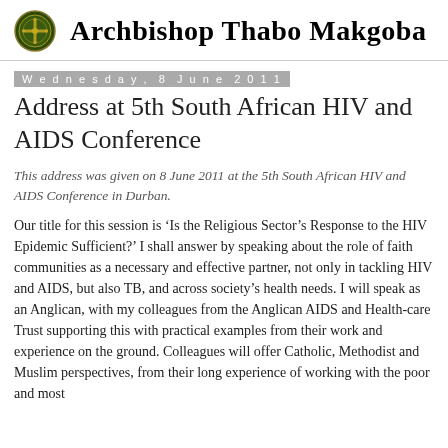Archbishop Thabo Makgoba
Wednesday, 8 June 2011
Address at 5th South African HIV and AIDS Conference
This address was given on 8 June 2011 at the 5th South African HIV and AIDS Conference in Durban.
Our title for this session is ‘Is the Religious Sector’s Response to the HIV Epidemic Sufficient?’ I shall answer by speaking about the role of faith communities as a necessary and effective partner, not only in tackling HIV and AIDS, but also TB, and across society’s health needs. I will speak as an Anglican, with my colleagues from the Anglican AIDS and Health-care Trust supporting this with practical examples from their work and experience on the ground. Colleagues will offer Catholic, Methodist and Muslim perspectives, from their long experience of working with the poor and most